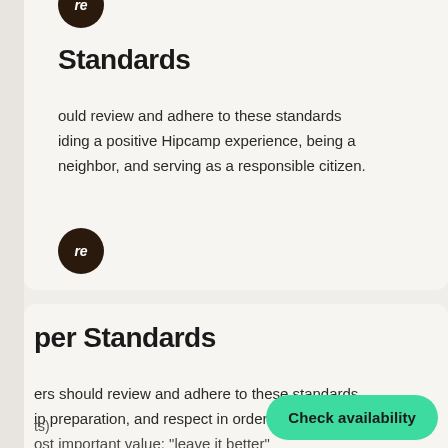Standards
ould review and adhere to these standards iding a positive Hipcamp experience, being a neighbor, and serving as a responsible citizen.
per Standards
ers should review and adhere to these standards ip preparation, and respect in order to uphold ost important value: "leave it better"
ts)
Check availability